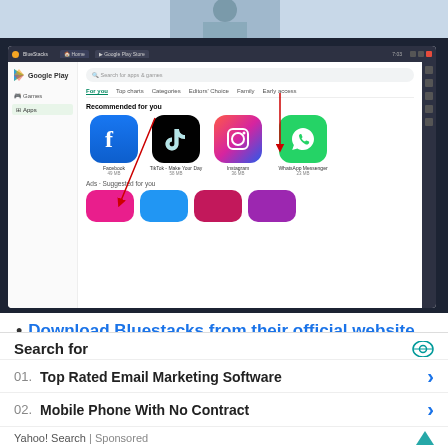[Figure (screenshot): BlueStacks emulator window showing Google Play Store with app recommendations including Facebook, TikTok, Instagram, WhatsApp Messenger. Red arrows point to the Apps section and search bar.]
Download Bluestacks from their official website on your PC for Installing APEX Race Manager
Search for
01.  Top Rated Email Marketing Software
02.  Mobile Phone With No Contract
Yahoo! Search | Sponsored